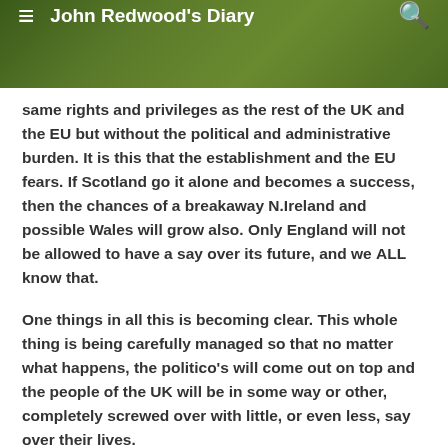John Redwood's Diary
same rights and privileges as the rest of the UK and the EU but without the political and administrative burden. It is this that the establishment and the EU fears. If Scotland go it alone and becomes a success, then the chances of a breakaway N.Ireland and possible Wales will grow also. Only England will not be allowed to have a say over its future, and we ALL know that.
One things in all this is becoming clear. This whole thing is being carefully managed so that no matter what happens, the politico's will come out on top and the people of the UK will be in some way or other, completely screwed over with little, or even less, say over their lives.
And Oh, before I forget. With a new Treaty, whether it be via